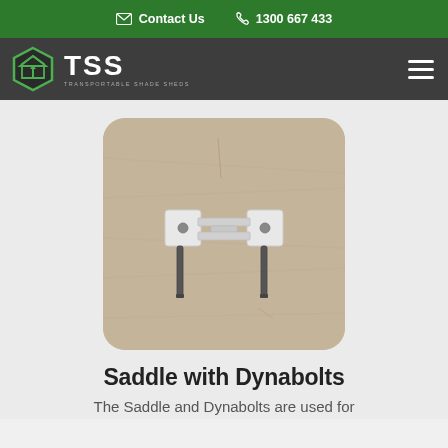Contact Us  1300 667 433
[Figure (logo): TSS Transportable Shade Sheds logo with green hexagon house icon and white TSS text on dark grey background, with hamburger menu icon on right]
[Figure (photo): A metal saddle hardware piece with two square white plates and two bolt pins, photographed on a light sandy/concrete surface with rounded square crop]
Saddle with Dynabolts
The Saddle and Dynabolts are used for